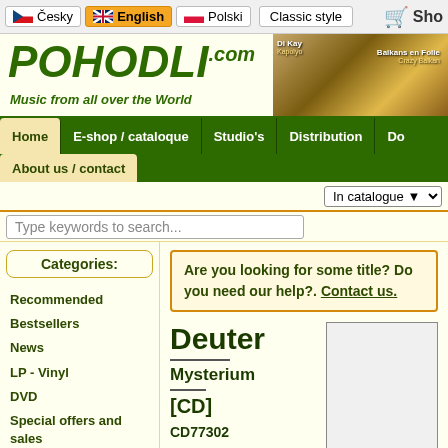Česky | English | Polski | Classic style | Shopping cart
[Figure (logo): POHODLI.com logo with tagline 'Music from all over the World' and album cover images on the right]
Home | E-shop / cataloque | Studio's | Distribution | Do... | About us / contact
In catalogue ▼
Type keywords to search...
Are you looking for some title? Do you need our help?. Contact us.
Categories:
Recommended
Bestsellers
News
LP - Vinyl
DVD
Special offers and sales
Titles on stock
Genres & regions:
Deuter
Mysterium
[CD]
CD77302